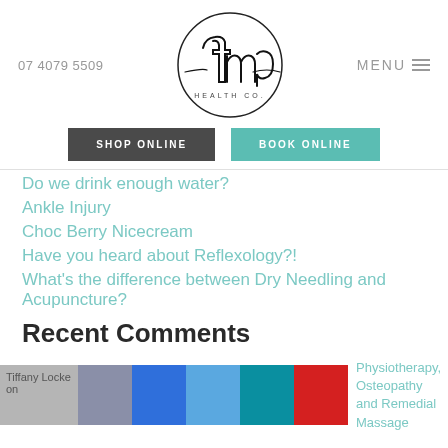07 4079 5509 | fmq HEALTH CO. | MENU
[Figure (logo): FMQ Health Co. circular handwritten logo]
SHOP ONLINE | BOOK ONLINE
Do we drink enough water?
Ankle Injury
Choc Berry Nicecream
Have you heard about Reflexology?!
What's the difference between Dry Needling and Acupuncture?
Recent Comments
Tiffany Locke on Physiotherapy, Osteopathy and Remedial Massage